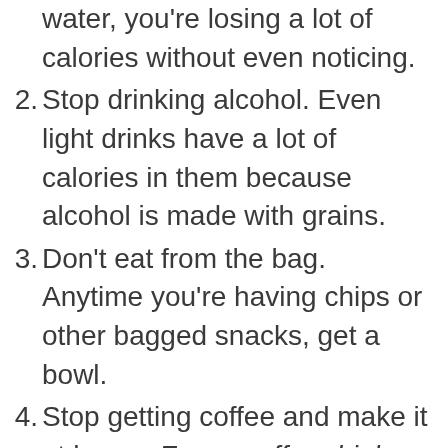water, you're losing a lot of calories without even noticing.
2. Stop drinking alcohol. Even light drinks have a lot of calories in them because alcohol is made with grains.
3. Don't eat from the bag. Anytime you're having chips or other bagged snacks, get a bowl.
4. Stop getting coffee and make it at home. Fancy coffee drinks taste good but they're also full of calories. If you drink coffee at home, it'll be better for you. It's also cheaper.